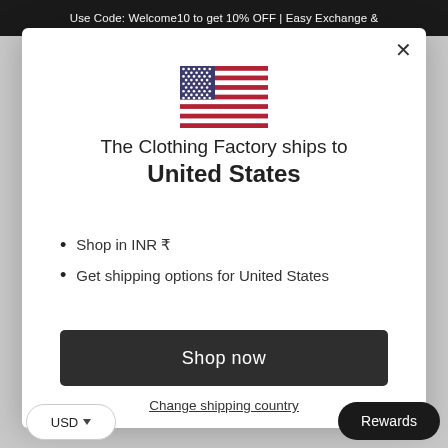Use Code: Welcome10 to get 10% OFF | Easy Exchange &
[Figure (illustration): US flag icon]
The Clothing Factory ships to United States
Shop in INR ₹
Get shipping options for United States
Shop now
Change shipping country
USD
Rewards